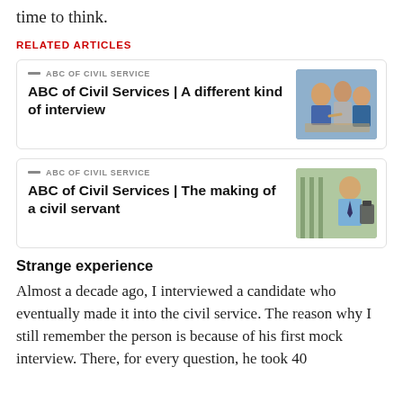time to think.
RELATED ARTICLES
[Figure (photo): Card: ABC of Civil Services | A different kind of interview, with photo of people in a business meeting shaking hands]
[Figure (photo): Card: ABC of Civil Services | The making of a civil servant, with photo of a man in a suit holding documents at a gate]
Strange experience
Almost a decade ago, I interviewed a candidate who eventually made it into the civil service. The reason why I still remember the person is because of his first mock interview. There, for every question, he took 40